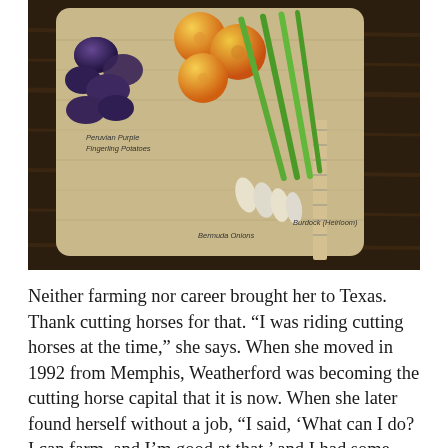[Figure (photo): Overhead photo of vegetables and fruit on a wooden heart-shaped cutting board against a dark wooden background. Items include Peruvian Purple Fingerling Potatoes (dark blue/purple), citrus fruits (yellow-orange), green onions (Bermuda Onions), and Burdock (Heirloom) with labels overlaid on the image.]
Neither farming nor career brought her to Texas. Thank cutting horses for that. "I was riding cutting horses at the time," she says. When she moved in 1992 from Memphis, Weatherford was becoming the cutting horse capital that it is now. When she later found herself without a job, "I said, 'What can I do? I can farm, and I'm good at that,' and I had some leftover...